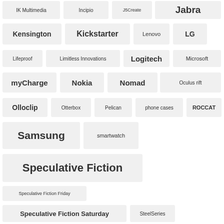IK Multimedia
Incipio
J5Create
Jabra
Kensington
Kickstarter
Lenovo
LG
Lifeproof
Limitless Innovations
Logitech
Microsoft
myCharge
Nokia
Nomad
Oculus rift
Olloclip
Otterbox
Pelican
phone cases
ROCCAT
Samsung
smartwatch
Speculative Fiction
Speculative Fiction Friday
Speculative Fiction Saturday
SteelSeries
Turtle Beach
TYLT
UAG
UAG Monarch